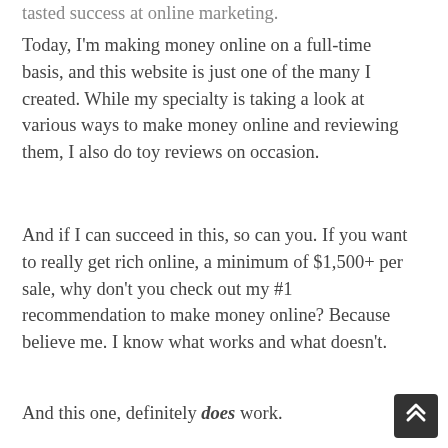tasted success at online marketing.
Today, I'm making money online on a full-time basis, and this website is just one of the many I created. While my specialty is taking a look at various ways to make money online and reviewing them, I also do toy reviews on occasion.
And if I can succeed in this, so can you. If you want to really get rich online, a minimum of $1,500+ per sale, why don't you check out my #1 recommendation to make money online? Because believe me. I know what works and what doesn't.
And this one, definitely does work.